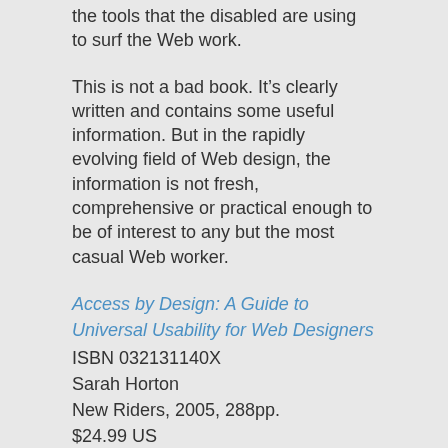the tools that the disabled are using to surf the Web work.
This is not a bad book. It’s clearly written and contains some useful information. But in the rapidly evolving field of Web design, the information is not fresh, comprehensive or practical enough to be of interest to any but the most casual Web worker.
Access by Design: A Guide to Universal Usability for Web Designers
ISBN 032131140X
Sarah Horton
New Riders, 2005, 288pp.
$24.99 US
Related Topics: Accessibility, Usability, User-Centered Design (UCD)